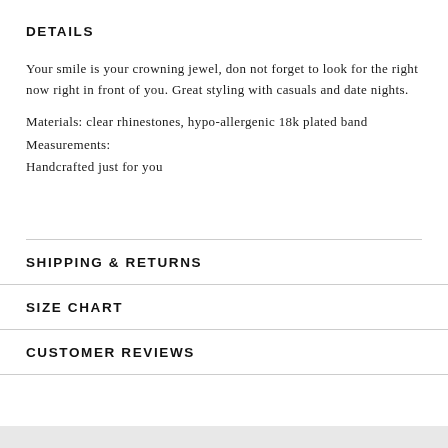DETAILS
Your smile is your crowning jewel, don not forget to look for the right now right in front of you. Great styling with casuals and date nights.
Materials: clear rhinestones, hypo-allergenic 18k plated band
Measurements:
Handcrafted just for you
SHIPPING & RETURNS
SIZE CHART
CUSTOMER REVIEWS